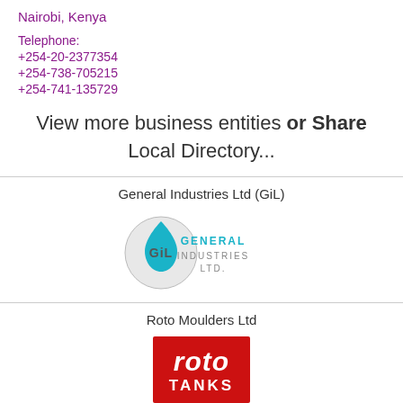Nairobi, Kenya
Telephone:
+254-20-2377354
+254-738-705215
+254-741-135729
View more business entities or Share Local Directory...
General Industries Ltd (GiL)
[Figure (logo): General Industries Ltd (GiL) logo with circular emblem and teal text]
Roto Moulders Ltd
[Figure (logo): Roto Tanks logo on red background with white italic text]
Automotic Solar Pool...